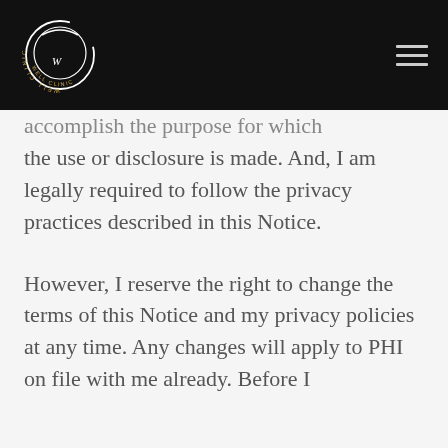Well Clinic
accomplish the purpose for which the use or disclosure is made. And, I am legally required to follow the privacy practices described in this Notice.
However, I reserve the right to change the terms of this Notice and my privacy policies at any time. Any changes will apply to PHI on file with me already. Before I